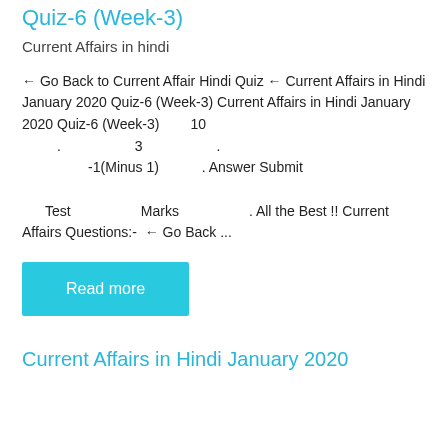Quiz-6 (Week-3)
Current Affairs in hindi
← Go Back to Current Affair Hindi Quiz ← Current Affairs in Hindi January 2020 Quiz-6 (Week-3) Current Affairs in Hindi January 2020 Quiz-6 (Week-3)       10
.                    3                    .
                 -1(Minus 1)            . Answer Submit

      Test                 Marks              . All the Best !! Current Affairs Questions:-  ← Go Back ...
Read more
Current Affairs in Hindi January 2020